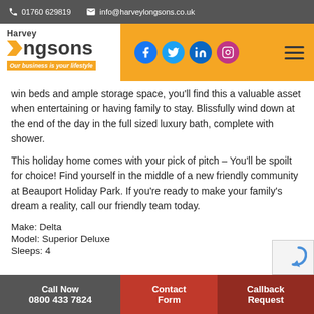01760 629819   info@harveylongsons.co.uk
[Figure (logo): Harvey Longsons logo with orange arrow, tagline 'Our business is your lifestyle', social icons (Facebook, Twitter, LinkedIn, Instagram) and hamburger menu on orange header bar]
win beds and ample storage space, you'll find this a valuable asset when entertaining or having family to stay. Blissfully wind down at the end of the day in the full sized luxury bath, complete with shower.
This holiday home comes with your pick of pitch – You'll be spoilt for choice! Find yourself in the middle of a new friendly community at Beauport Holiday Park. If you're ready to make your family's dream a reality, call our friendly team today.
Make: Delta
Model: Superior Deluxe
Sleeps: 4
Call Now 0800 433 7824   |   Contact Form   |   Callback Request